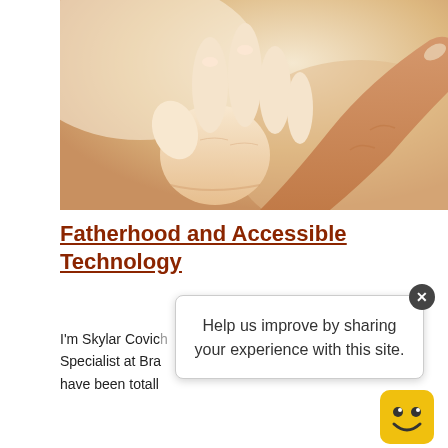[Figure (photo): Close-up photo of a baby's small hand gripping an adult's finger, warm skin tones with soft blurred background]
Fatherhood and Accessible Technology
I'm Skylar Covich [partially obscured] echnology Specialist at Bra[partially obscured] arbara. I have been totall[partially obscured]
[Figure (screenshot): Tooltip popup overlay reading 'Help us improve by sharing your experience with this site.' with a close button (x) and a yellow smiley face mascot in the bottom right corner]